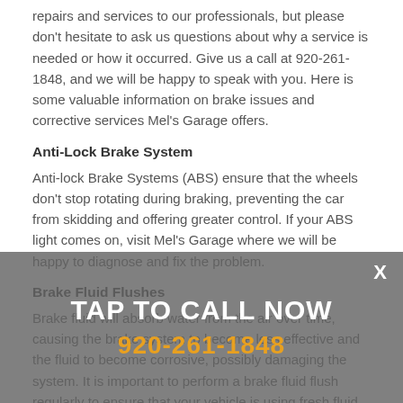repairs and services to our professionals, but please don't hesitate to ask us questions about why a service is needed or how it occurred. Give us a call at 920-261-1848, and we will be happy to speak with you. Here is some valuable information on brake issues and corrective services Mel's Garage offers.
Anti-Lock Brake System
Anti-lock Brake Systems (ABS) ensure that the wheels don't stop rotating during braking, preventing the car from skidding and offering greater control. If your ABS light comes on, visit Mel's Garage where we will be happy to diagnose and fix the problem.
Brake Fluid Flushes
Brake fluid will absorb water from the air over time, causing the brake system to become less effective and the fluid to become corrosive, possibly damaging the system. It is important to perform a brake fluid flush regularly to ensure that your vehicle is using fresh fluid. Talk to our technicians at Mel's Garage about
[Figure (infographic): Gray overlay banner with 'TAP TO CALL NOW' in white bold text and '920-261-1848' in orange bold text, with an X close button in the top-right corner.]